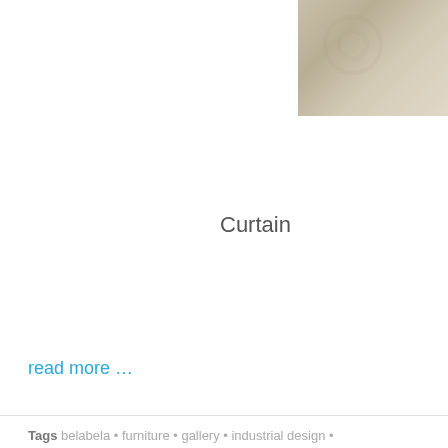[Figure (photo): Partial view of a curtain or textile with a soft beige/tan color and subtle floral or decorative pattern, shown cropped in the upper right corner of the page.]
Curtain
read more …
Tags belabela • furniture • gallery • industrial design • slovenia • textile art • vesna stih